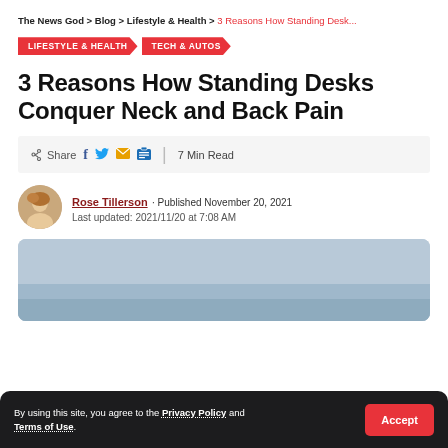The News God > Blog > Lifestyle & Health > 3 Reasons How Standing Desk...
LIFESTYLE & HEALTH / TECH & AUTOS
3 Reasons How Standing Desks Conquer Neck and Back Pain
Share [icons] | 7 Min Read
Rose Tillerson · Published November 20, 2021
Last updated: 2021/11/20 at 7:08 AM
[Figure (photo): Featured article image with blue-grey background showing partial view]
By using this site, you agree to the Privacy Policy and Terms of Use.